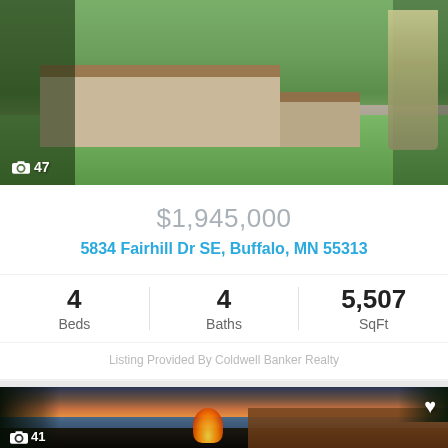[Figure (photo): Exterior photo of a residential home with green lawn and driveway. Camera icon with count '47' in bottom left.]
$1,945,000
5834 Fairhill Dr SE, Buffalo, MN 55313
4 Beds   4 Baths   5,507 SqFt
Listing Provided By Coldwell Banker Realty
[Figure (photo): Sunset lake view from a deck with a fire pit glowing in the foreground and orange sky reflecting on the water. Heart icon in top right. Camera icon with count '41' in bottom left.]